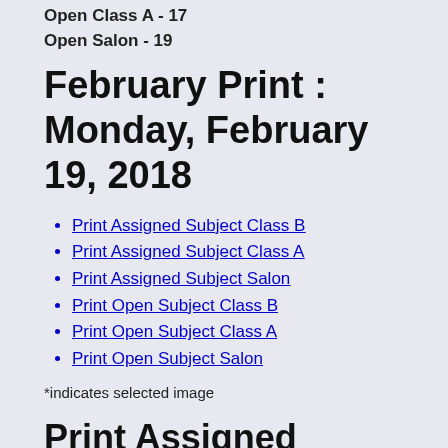Open Class A - 17
Open Salon - 19
February Print : Monday, February 19, 2018
Print Assigned Subject Class B
Print Assigned Subject Class A
Print Assigned Subject Salon
Print Open Subject Class B
Print Open Subject Class A
Print Open Subject Salon
*indicates selected image
Print Assigned Subject Class B class
Rank Score   Title/Description   Entrant